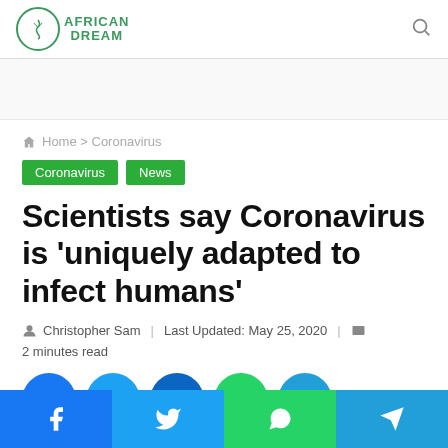AFRICAN DREAM (logo)
Home > Coronavirus
Coronavirus  News
Scientists say Coronavirus is 'uniquely adapted to infect humans'
Christopher Sam   Last Updated: May 25, 2020   2 minutes read
[Figure (other): Social share buttons: Facebook, Twitter, LinkedIn, WhatsApp, Telegram]
Facebook | Twitter | WhatsApp | Telegram (bottom share bar)